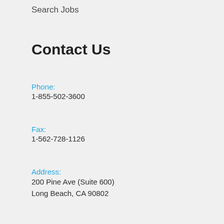Search Jobs
Contact Us
Phone:
1-855-502-3600
Fax:
1-562-728-1126
Address:
200 Pine Ave (Suite 600)
Long Beach, CA 90802